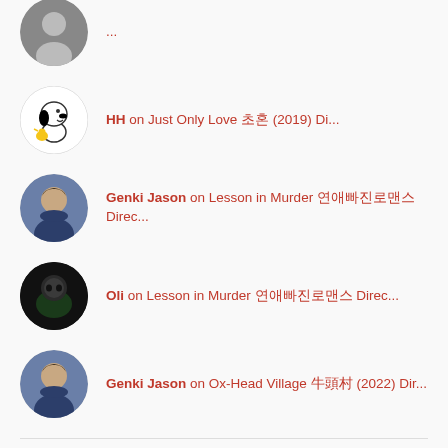HH on Just Only Love 초혼 (2019) Di...
Genki Jason on Lesson in Murder 연애빠진로맨스 Direc...
Oli on Lesson in Murder 연애빠진로맨스 Direc...
Genki Jason on Ox-Head Village 牛頭村 (2022) Dir...
TWITTER UPDATES
RT @nichi_sis #DriveMyCar (2021) by Ryusuke...